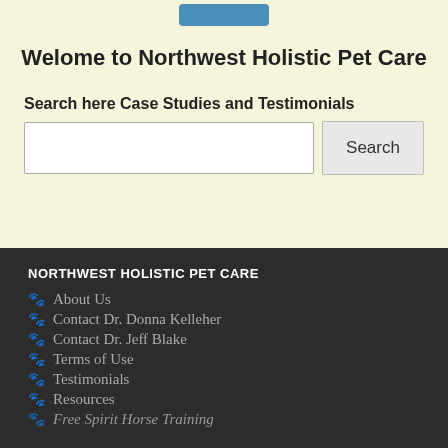[Figure (other): Blue button at top of page]
Welome to Northwest Holistic Pet Care
Search here Case Studies and Testimonials
[Figure (other): Search input box and Search button]
NORTHWEST HOLISTIC PET CARE
About Us
Contact Dr. Donna Kelleher
Contact Dr. Jeff Blake
Terms of Use
Testimonials
Resources
Free Spirit Horse Training